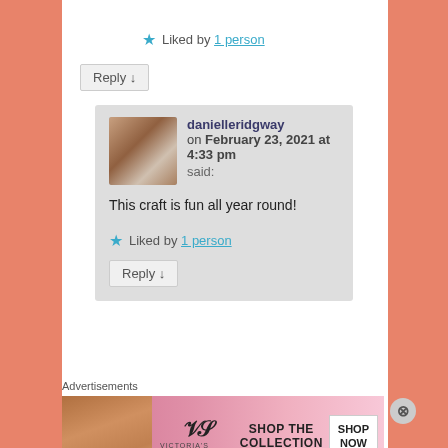★ Liked by 1 person
Reply ↓
danielleridgway on February 23, 2021 at 4:33 pm said:
This craft is fun all year round!
★ Liked by 1 person
Reply ↓
Advertisements
[Figure (other): Victoria's Secret advertisement banner with model, VS logo, 'SHOP THE COLLECTION' text, and 'SHOP NOW' button]